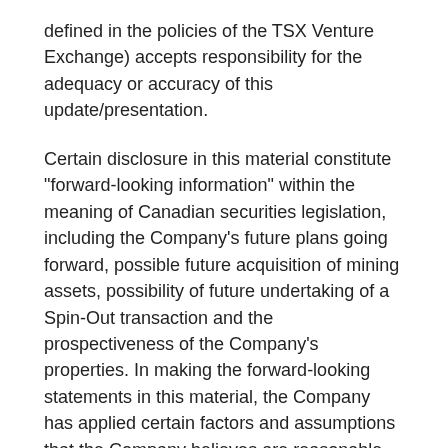defined in the policies of the TSX Venture Exchange) accepts responsibility for the adequacy or accuracy of this update/presentation.
Certain disclosure in this material constitute "forward-looking information" within the meaning of Canadian securities legislation, including the Company's future plans going forward, possible future acquisition of mining assets, possibility of future undertaking of a Spin-Out transaction and the prospectiveness of the Company's properties. In making the forward-looking statements in this material, the Company has applied certain factors and assumptions that the Company believes are reasonable, including that the Company will be able to obtain required approvals and financing